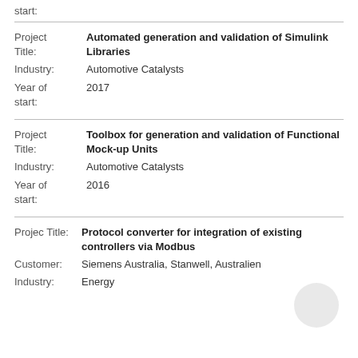start:
Project Title: Automated generation and validation of Simulink Libraries
Industry: Automotive Catalysts
Year of start: 2017
Project Title: Toolbox for generation and validation of Functional Mock-up Units
Industry: Automotive Catalysts
Year of start: 2016
Projec Title: Protocol converter for integration of existing controllers via Modbus
Customer: Siemens Australia, Stanwell, Australien
Industry: Energy